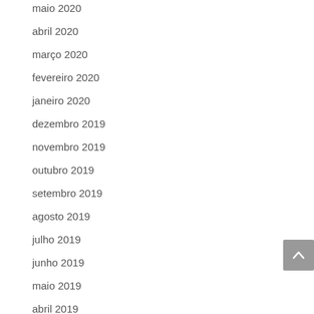maio 2020
abril 2020
março 2020
fevereiro 2020
janeiro 2020
dezembro 2019
novembro 2019
outubro 2019
setembro 2019
agosto 2019
julho 2019
junho 2019
maio 2019
abril 2019
março 2019